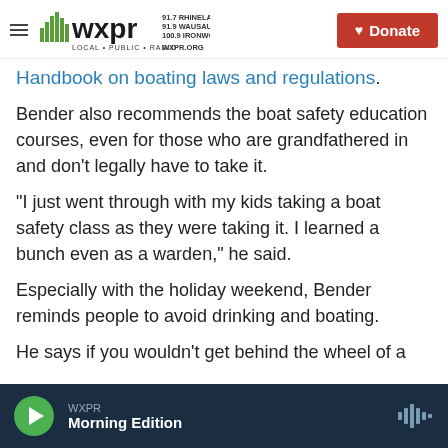WXPR LOCAL · PUBLIC · RADIO — 91.7 RHINELANDER 91.9 WAUSAU 100.9 IRONWOOD WXPR.ORG — Donate
Handbook on boating laws and regulations.
Bender also recommends the boat safety education courses, even for those who are grandfathered in and don't legally have to take it.
“I just went through with my kids taking a boat safety class as they were taking it. I learned a bunch even as a warden,” he said.
Especially with the holiday weekend, Bender reminds people to avoid drinking and boating.
He says if you wouldn’t get behind the wheel of a
WXPR — Morning Edition